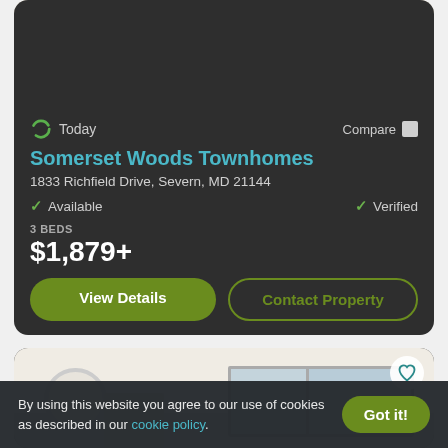[Figure (photo): Interior room photo showing a living area with sofa, coffee table, and plant. Badge shows '1 of 29'.]
Today
Compare
Somerset Woods Townhomes
1833 Richfield Drive, Severn, MD 21144
✓ Available
✓ Verified
3 BEDS
$1,879+
View Details
Contact Property
[Figure (photo): Interior room photo showing a bright room with windows and wall decor, with a heart/favorite icon button.]
By using this website you agree to our use of cookies as described in our cookie policy.
Got it!